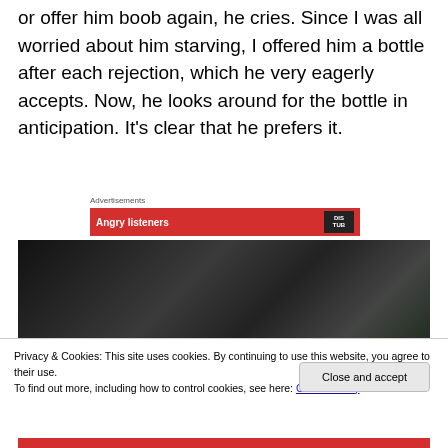or offer him boob again, he cries. Since I was all worried about him starving, I offered him a bottle after each rejection, which he very eagerly accepts. Now, he looks around for the bottle in anticipation. It's clear that he prefers it.
Advertisements
[Figure (photo): Advertisement banner with red background and text 'Angry listeners' with a logo reading 'DIS TUB']
[Figure (photo): Dark photo showing interior scene, partially obscured]
Privacy & Cookies: This site uses cookies. By continuing to use this website, you agree to their use.
To find out more, including how to control cookies, see here: Cookie Policy
Close and accept